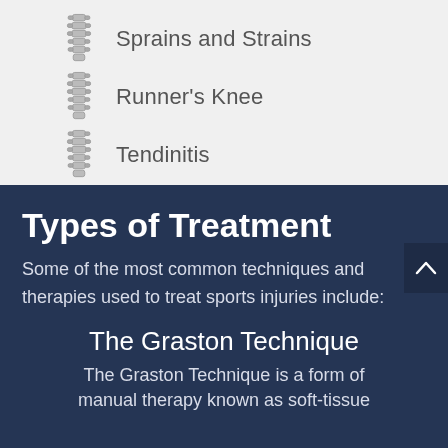Sprains and Strains
Runner's Knee
Tendinitis
Types of Treatment
Some of the most common techniques and therapies used to treat sports injuries include:
The Graston Technique
The Graston Technique is a form of manual therapy known as soft-tissue